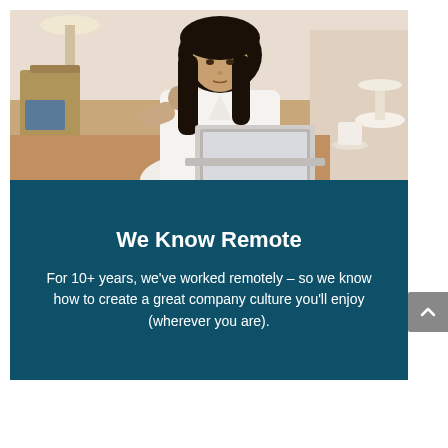[Figure (photo): A woman with long dark hair dressed in a white shirt, sitting at a wooden table in a cafe-like setting, working on a laptop while holding a straw. Background shows cafe furniture and decor.]
We Know Remote
For 10+ years, we've worked remotely – so we know how to create a great company culture you'll enjoy (wherever you are).